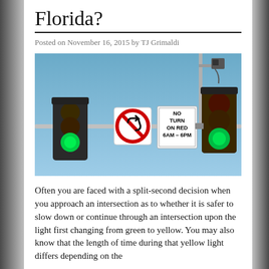Florida?
Posted on November 16, 2015 by TJ Grimaldi
[Figure (photo): Photo of two traffic lights showing green light, a 'No Left Turn' sign, and a 'No Turn on Red 6AM-6PM' sign, mounted on a horizontal pole against a blue sky, with a traffic camera mounted on a vertical pole above.]
Often you are faced with a split-second decision when you approach an intersection as to whether it is safer to slow down or continue through an intersection upon the light first changing from green to yellow. You may also know that the length of time during that yellow light differs depending on the